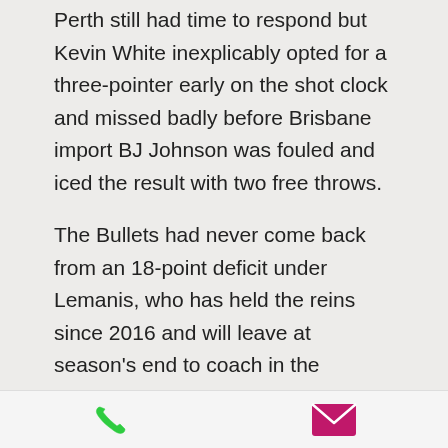Perth still had time to respond but Kevin White inexplicably opted for a three-pointer early on the shot clock and missed badly before Brisbane import BJ Johnson was fouled and iced the result with two free throws.
The Bullets had never come back from an 18-point deficit under Lemanis, who has held the reins since 2016 and will leave at season's end to coach in the Japanese league.
It was just the boost Brisbane needed as they try to seal a top-four finish on a congested ladder.
[Figure (infographic): Footer bar with phone icon (green) on the left and mail/envelope icon (pink/magenta) on the right]